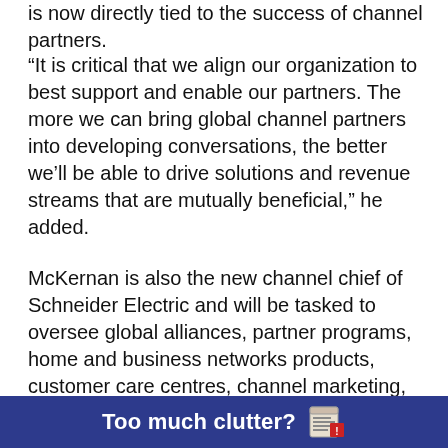is now directly tied to the success of channel partners.
“It is critical that we align our organization to best support and enable our partners. The more we can bring global channel partners into developing conversations, the better we’ll be able to drive solutions and revenue streams that are mutually beneficial,” he added.
McKernan is also the new channel chief of Schneider Electric and will be tasked to oversee global alliances, partner programs, home and business networks products, customer care centres, channel marketing, channel operations and commercial sales teams in specific regions.
[Figure (other): Dark blue banner advertisement with bold white text reading 'Too much clutter?' and a newspaper/document icon on the right.]